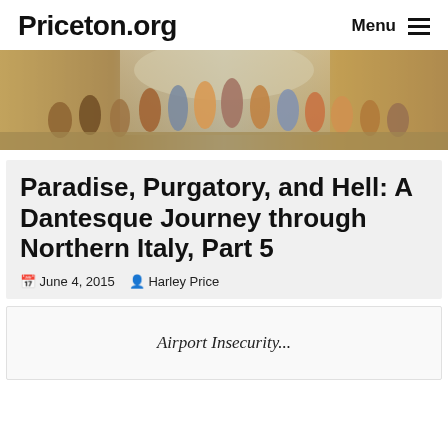Priceton.org
[Figure (photo): Raphael's School of Athens painting showing ancient philosophers gathered in a classical architectural setting]
Paradise, Purgatory, and Hell: A Dantesque Journey through Northern Italy, Part 5
June 4, 2015  Harley Price
Airport Insecurity...